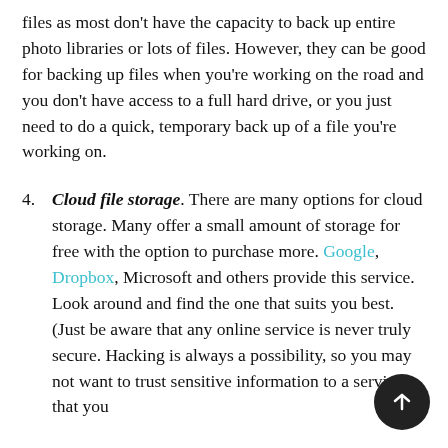files as most don't have the capacity to back up entire photo libraries or lots of files. However, they can be good for backing up files when you're working on the road and you don't have access to a full hard drive, or you just need to do a quick, temporary back up of a file you're working on.
4. Cloud file storage. There are many options for cloud storage. Many offer a small amount of storage for free with the option to purchase more. Google, Dropbox, Microsoft and others provide this service. Look around and find the one that suits you best. (Just be aware that any online service is never truly secure. Hacking is always a possibility, so you may not want to trust sensitive information to a service that you